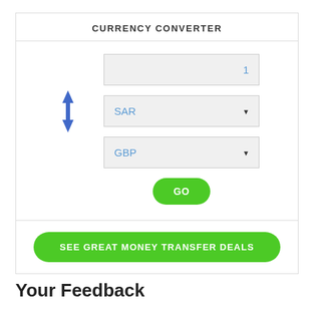CURRENCY CONVERTER
[Figure (screenshot): Currency converter widget with input field showing value '1', SAR currency selector dropdown, GBP currency selector dropdown, blue swap arrows icon on left, and a green GO button]
SEE GREAT MONEY TRANSFER DEALS
Your Feedback